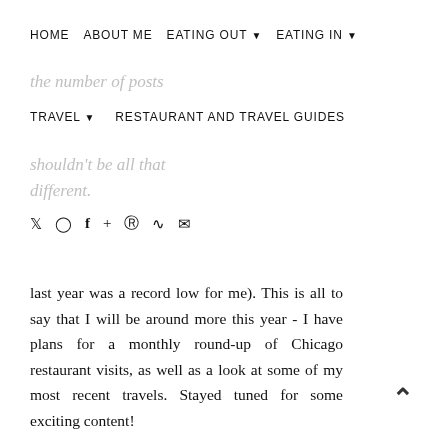HOME   ABOUT ME   EATING OUT ▾   EATING IN ▾
the number of posts
TRAVEL ▾   RESTAURANT AND TRAVEL GUIDES
shouldn't be all that
different.
Social icons: twitter, instagram, facebook, google+, pinterest, rss, email
last year was a record low for me). This is all to say that I will be around more this year - I have plans for a monthly round-up of Chicago restaurant visits, as well as a look at some of my most recent travels. Stayed tuned for some exciting content!